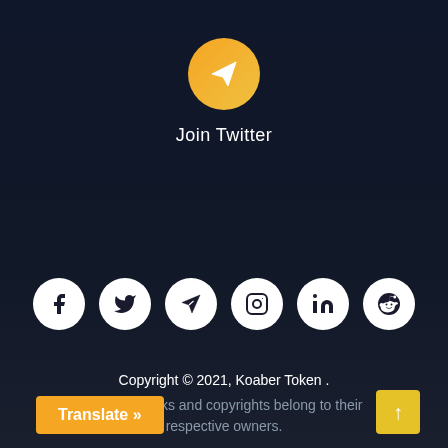[Figure (logo): Gold/orange circular icon with white paper plane (Telegram-style send icon)]
Join Twitter
[Figure (infographic): Row of 6 white circular social media icons: Facebook, Twitter, Telegram, Instagram, LinkedIn, Reddit]
Copyright © 2021, Koaber Token .
All trademarks and copyrights belong to their respective owners.
Translate »
↑